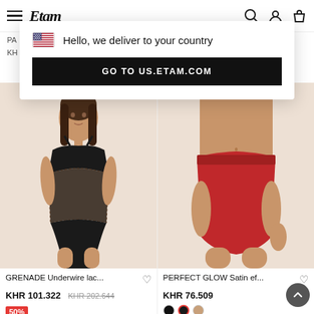[Figure (screenshot): Etam website header with hamburger menu, Etam logo, and icons for search, account, wishlist, and bag]
[Figure (screenshot): Popup notification: flag icon with 'Hello, we deliver to your country' text and black 'GO TO US.ETAM.COM' button]
PA...
KH...
[Figure (photo): Model wearing GRENADE Underwire lace black bodysuit on beige background]
[Figure (photo): Model wearing PERFECT GLOW Satin effect red high-waist briefs on beige background]
GRENADE Underwire lac...
KHR 101.322  KHR 202.644
50%
PERFECT GLOW Satin ef...
KHR 76.509
Buy 2 get 3